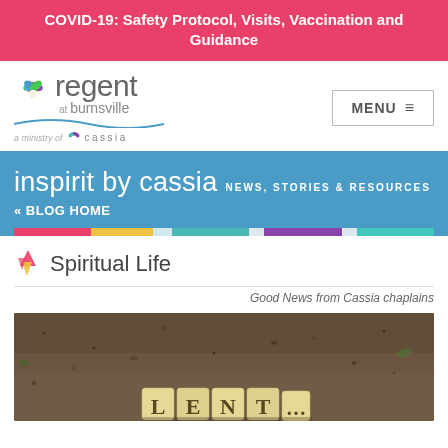COVID-19: Safety Protocol, Visits, Vaccination and Guidance
[Figure (logo): Regent at Burnsville logo with flower icon and wave, 'a ministry of Cassia' tagline, and MENU button]
[Figure (infographic): inspirit by cassia NEWS, STORIES & RESOURCES banner with « BLOG HOME link, blue background with color category tabs]
Spiritual Life
Good News from Cassia chaplains
[Figure (photo): Blurred soil/dirt background with Scrabble-like letter tiles spelling LENT]